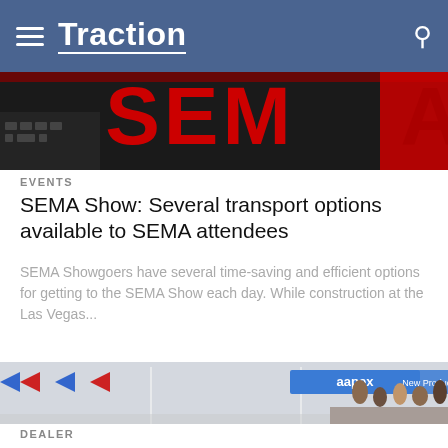Traction
[Figure (photo): SEMA Show signage with red letters on dark background]
EVENTS
SEMA Show: Several transport options available to SEMA attendees
SEMA Showgoers have several time-saving and efficient options for getting to the SEMA Show each day. While construction at the Las Vegas...
[Figure (photo): AAPEX trade show floor with attendees and signage including 'aapex' and 'New Product Showcase' banners]
DEALER
AAPEX announces expansion of training program for